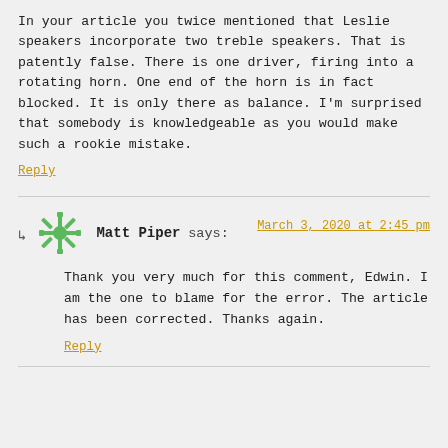In your article you twice mentioned that Leslie speakers incorporate two treble speakers. That is patently false. There is one driver, firing into a rotating horn. One end of the horn is in fact blocked. It is only there as balance. I'm surprised that somebody is knowledgeable as you would make such a rookie mistake.
Reply
Matt Piper says:
March 3, 2020 at 2:45 pm
Thank you very much for this comment, Edwin. I am the one to blame for the error. The article has been corrected. Thanks again.
Reply